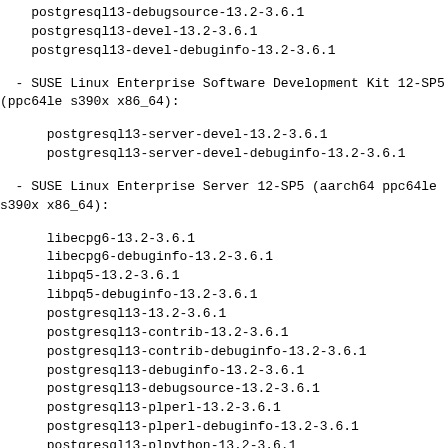postgresql13-debugsource-13.2-3.6.1
postgresql13-devel-13.2-3.6.1
postgresql13-devel-debuginfo-13.2-3.6.1
- SUSE Linux Enterprise Software Development Kit 12-SP5 (ppc64le s390x x86_64):
postgresql13-server-devel-13.2-3.6.1
postgresql13-server-devel-debuginfo-13.2-3.6.1
- SUSE Linux Enterprise Server 12-SP5 (aarch64 ppc64le s390x x86_64):
libecpg6-13.2-3.6.1
libecpg6-debuginfo-13.2-3.6.1
libpq5-13.2-3.6.1
libpq5-debuginfo-13.2-3.6.1
postgresql13-13.2-3.6.1
postgresql13-contrib-13.2-3.6.1
postgresql13-contrib-debuginfo-13.2-3.6.1
postgresql13-debuginfo-13.2-3.6.1
postgresql13-debugsource-13.2-3.6.1
postgresql13-plperl-13.2-3.6.1
postgresql13-plperl-debuginfo-13.2-3.6.1
postgresql13-plpython-13.2-3.6.1
postgresql13-plpython-debuginfo-13.2-3.6.1
postgresql13-pltcl-13.2-3.6.1
postgresql13-pltcl-debuginfo-13.2-3.6.1
postgresql13-server-13.2-3.6.1
postgresql13-server-debuginfo-13.2-3.6.1